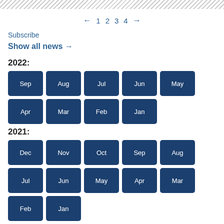← 1 2 3 4 →
Subscribe
Show all news →
2022:
Sep
Aug
Jul
Jun
May
Apr
Mar
Feb
Jan
2021:
Dec
Nov
Oct
Sep
Aug
Jul
Jun
May
Apr
Mar
Feb
Jan
2020: